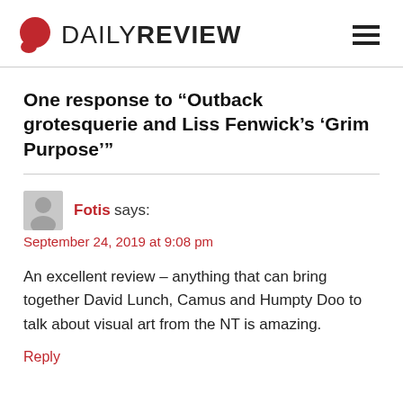DAILY REVIEW
One response to “Outback grotesquerie and Liss Fenwick’s ‘Grim Purpose’”
Fotis says:
September 24, 2019 at 9:08 pm
An excellent review – anything that can bring together David Lunch, Camus and Humpty Doo to talk about visual art from the NT is amazing.
Reply